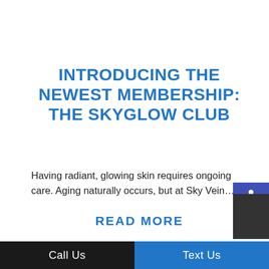INTRODUCING THE NEWEST MEMBERSHIP: THE SKYGLOW CLUB
Having radiant, glowing skin requires ongoing care.  Aging naturally occurs, but at Sky Vein…
READ MORE
Call Us   Text Us